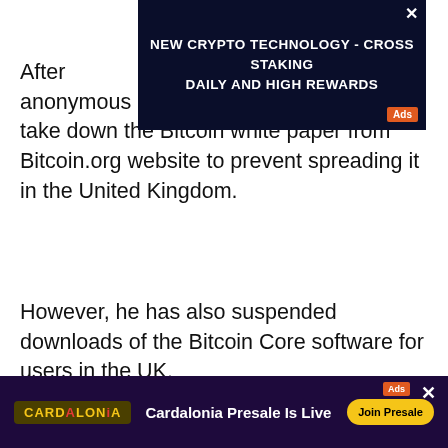[Figure (screenshot): Top advertisement banner with dark navy/space background. Text reads: 'NEW CRYPTO TECHNOLOGY - CROSS STAKING DAILY AND HIGH REWARDS' with an 'Ads' badge and close X button.]
After [obscured by ad] anonymous Bitcoin dev Cobra has had to take down the Bitcoin white paper from Bitcoin.org website to prevent spreading it in the United Kingdom.
However, he has also suspended downloads of the Bitcoin Core software for users in the UK.
Bitcoin.org takes down legendary Bitcoin white paper
When questions arose, and Blockstream CEO Adam Back was among those who asked them, Cobra store[obscured]
[Figure (screenshot): Bottom advertisement banner with dark purple background. Cardalonia logo on left, text 'Cardalonia Presale Is Live', 'Join Presale' button, Ads badge and X close button.]